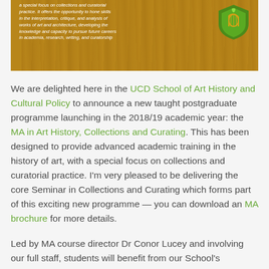[Figure (photo): Decorative banner with wooden background, white italic text about art history and cultural policy programme, and a green/gold UCD shield logo on the right.]
We are delighted here in the UCD School of Art History and Cultural Policy to announce a new taught postgraduate programme launching in the 2018/19 academic year: the MA in Art History, Collections and Curating. This has been designed to provide advanced academic training in the history of art, with a special focus on collections and curatorial practice. I'm very pleased to be delivering the core Seminar in Collections and Curating which forms part of this exciting new programme — you can download an MA brochure for more details.
Led by MA course director Dr Conor Lucey and involving our full staff, students will benefit from our School's extensive partnerships with local, regional, and national cultural institutions and gain first-hand exposure to advanced